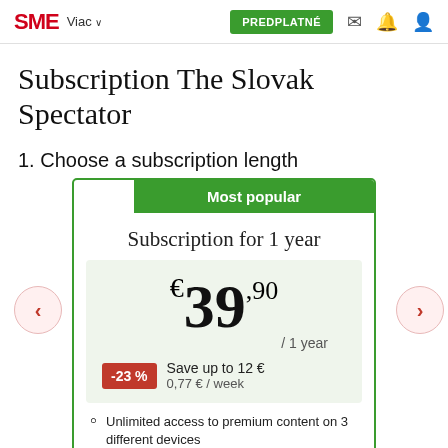SME  Viac  PREDPLATNÉ
Subscription The Slovak Spectator
1. Choose a subscription length
Most popular
Subscription for 1 year
€ 39,90 / 1 year
-23 %  Save up to 12 €  0,77 € / week
Unlimited access to premium content on 3 different devices